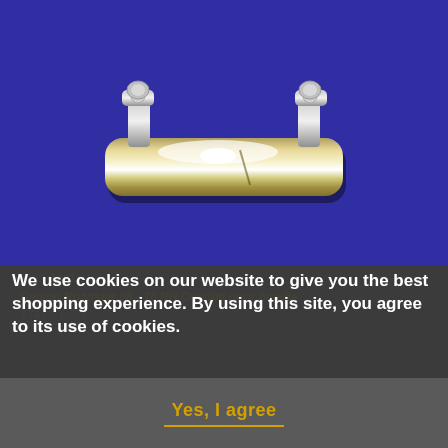[Figure (photo): Chrome exterior door handle with two mounting brackets, photographed against a blue/purple background. The handle is shiny silver/chrome colored with a rectangular bar shape.]
SKU: 1441
Datsun Roadster 68 - 70 RH Outside door handle
$74.00 USD
We use cookies on our website to give you the best shopping experience. By using this site, you agree to its use of cookies.
Yes, I agree